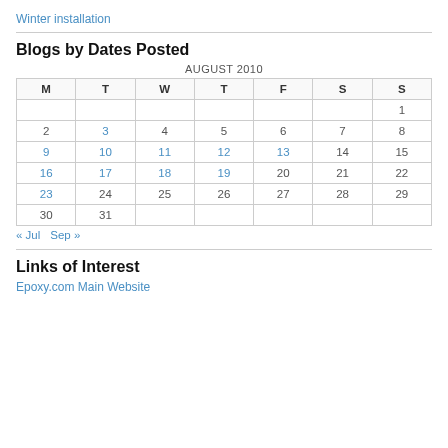Winter installation
Blogs by Dates Posted
| M | T | W | T | F | S | S |
| --- | --- | --- | --- | --- | --- | --- |
|  |  |  |  |  |  | 1 |
| 2 | 3 | 4 | 5 | 6 | 7 | 8 |
| 9 | 10 | 11 | 12 | 13 | 14 | 15 |
| 16 | 17 | 18 | 19 | 20 | 21 | 22 |
| 23 | 24 | 25 | 26 | 27 | 28 | 29 |
| 30 | 31 |  |  |  |  |  |
« Jul   Sep »
Links of Interest
Epoxy.com Main Website